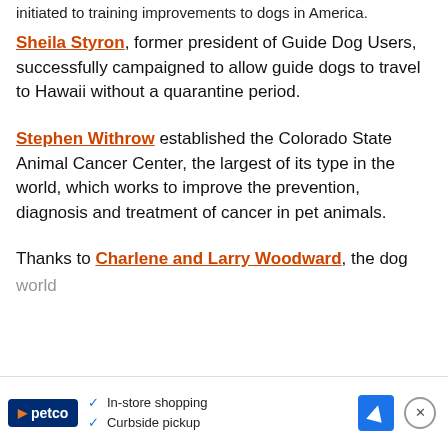initiated to training improvements to dogs in America.
Sheila Styron, former president of Guide Dog Users, successfully campaigned to allow guide dogs to travel to Hawaii without a quarantine period.
Stephen Withrow established the Colorado State Animal Cancer Center, the largest of its type in the world, which works to improve the prevention, diagnosis and treatment of cancer in pet animals.
Thanks to Charlene and Larry Woodward, the dog world ...